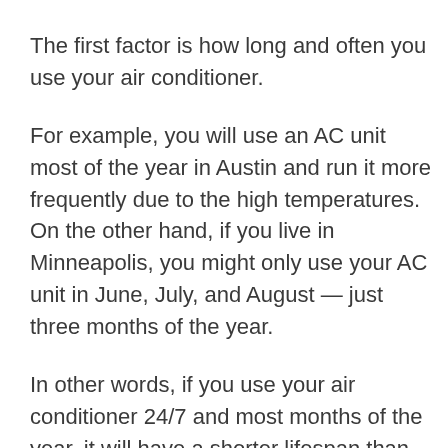The first factor is how long and often you use your air conditioner.
For example, you will use an AC unit most of the year in Austin and run it more frequently due to the high temperatures. On the other hand, if you live in Minneapolis, you might only use your AC unit in June, July, and August — just three months of the year.
In other words, if you use your air conditioner 24/7 and most months of the year, it will have a shorter lifespan than an AC unit that's only used occasionally.